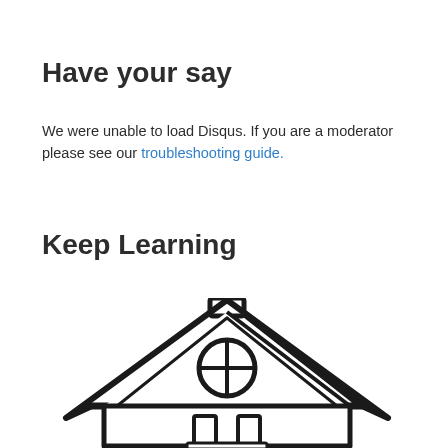Have your say
We were unable to load Disqus. If you are a moderator please see our troubleshooting guide.
Keep Learning
[Figure (illustration): Hand-drawn illustration of a house/schoolhouse with a triangular roof, circular window with cross, and visible front door with steps. Black line drawing on white background.]